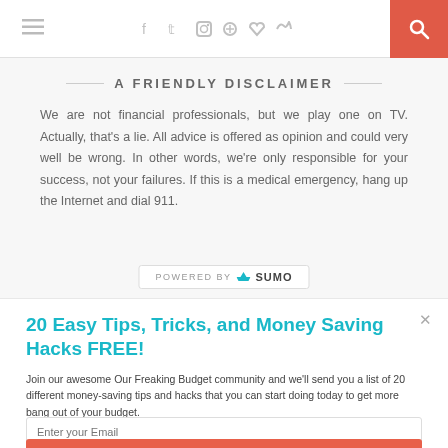≡   f  ✦  ◻  ⊕  ♥  )))   🔍
A FRIENDLY DISCLAIMER
We are not financial professionals, but we play one on TV. Actually, that's a lie. All advice is offered as opinion and could very well be wrong. In other words, we're only responsible for your success, not your failures. If this is a medical emergency, hang up the Internet and dial 911.
[Figure (logo): POWERED BY SUMO logo with crown icon]
20 Easy Tips, Tricks, and Money Saving Hacks FREE!
Join our awesome Our Freaking Budget community and we'll send you a list of 20 different money-saving tips and hacks that you can start doing today to get more bang out of your budget.
Enter your Email
Sign Me Up!